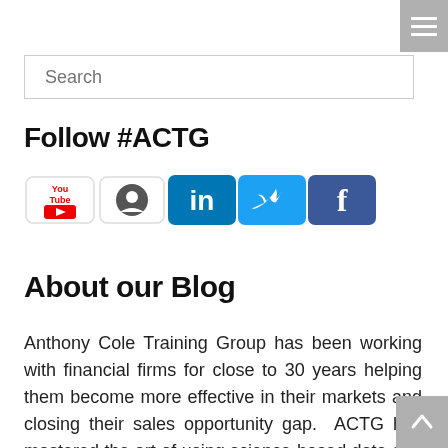[Figure (other): Hamburger menu icon button in top-right corner, gray background with three white horizontal lines]
Search
Follow #ACTG
[Figure (other): Row of five social media icons: YouTube, a circular icon (possibly Klout or similar), LinkedIn, Twitter, Facebook]
About our Blog
Anthony Cole Training Group has been working with financial firms for close to 30 years helping them become more effective in their markets and closing their sales opportunity gap.  ACTG has mastered the art of using science-based data and finely honed coaching strategies to help build effective sales teams.  Don't miss our weekly sales management blog insights from our team of expert contributors.